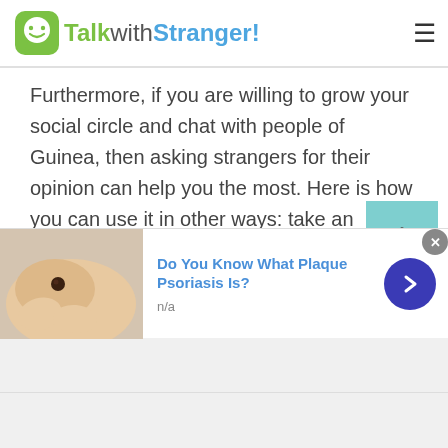TalkwithStranger!
Furthermore, if you are willing to grow your social circle and chat with people of Guinea, then asking strangers for their opinion can help you the most. Here is how you can use it in other ways: take an example that you are buying a new cell phone of the brand that has been super popular in any country. You might be already aware of all the specifications and quality of that cellphone. Still, it is a best practice to chat with random people of Guinea and ask them about the brand quality.
[Figure (screenshot): Advertisement banner: photo of skin with mole, headline 'Do You Know What Plaque Psoriasis Is?', subtext 'n/a', blue arrow button]